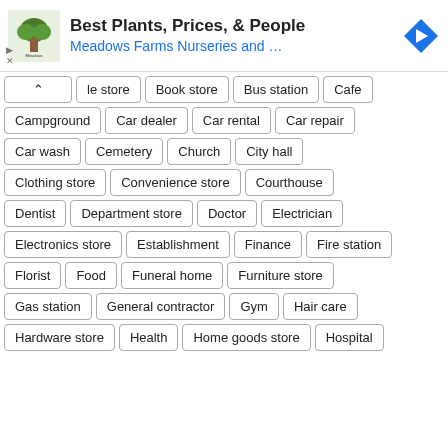[Figure (infographic): Advertisement banner for Meadows Farms Nurseries with logo, text 'Best Plants, Prices, & People' and 'Meadows Farms Nurseries and ...' in blue, and a blue navigation arrow icon on the right. Play and close controls on left.]
le store
Book store
Bus station
Cafe
Campground
Car dealer
Car rental
Car repair
Car wash
Cemetery
Church
City hall
Clothing store
Convenience store
Courthouse
Dentist
Department store
Doctor
Electrician
Electronics store
Establishment
Finance
Fire station
Florist
Food
Funeral home
Furniture store
Gas station
General contractor
Gym
Hair care
Hardware store
Health
Home goods store
Hospital